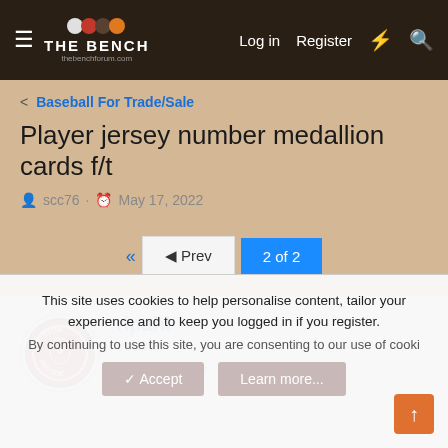THE BENCH | Log in | Register
Baseball For Trade/Sale
Player jersey number medallion cards f/t
scc76 · May 17, 2022
◄◄  ◄ Prev  2 of 2
ripahl
Veteran
449 ★★★★½
This site uses cookies to help personalise content, tailor your experience and to keep you logged in if you register.
By continuing to use this site, you are consenting to our use of cooki…